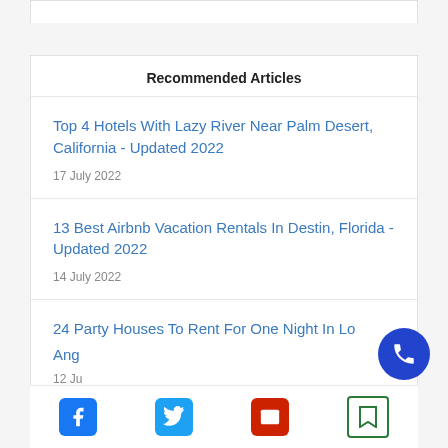Recommended Articles
Top 4 Hotels With Lazy River Near Palm Desert, California - Updated 2022
17 July 2022
13 Best Airbnb Vacation Rentals In Destin, Florida - Updated 2022
14 July 2022
24 Party Houses To Rent For One Night In Lo... Ang...
12 Ju...